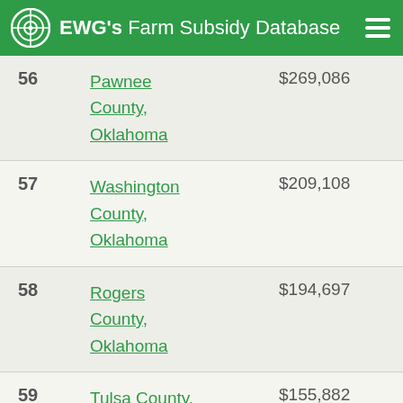EWG's Farm Subsidy Database
| Rank | County | Amount |
| --- | --- | --- |
| 56 | Pawnee County, Oklahoma | $269,086 |
| 57 | Washington County, Oklahoma | $209,108 |
| 58 | Rogers County, Oklahoma | $194,697 |
| 59 | Tulsa County, Oklahoma | $155,882 |
| 60 | Delaware County, Oklahoma | $154,511 |